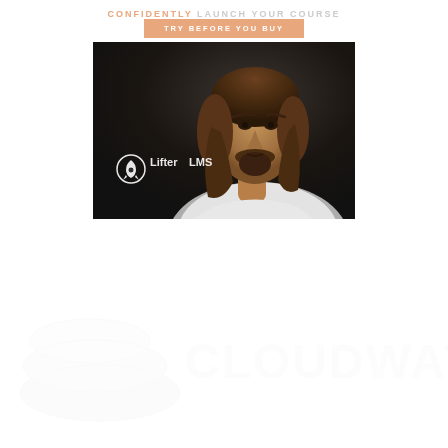CONFIDENTLY LAUNCH YOUR COURSE
TRY BEFORE YOU BUY
[Figure (photo): LifterLMS promotional image showing a bearded man with long brown hair against a dark background, with the LifterLMS logo (rocket icon and text) displayed in the lower left]
[Figure (logo): Cloudways logo in very light/faded white, showing stacked cloud icon shapes and the word CLOUDWAYS in large letters]